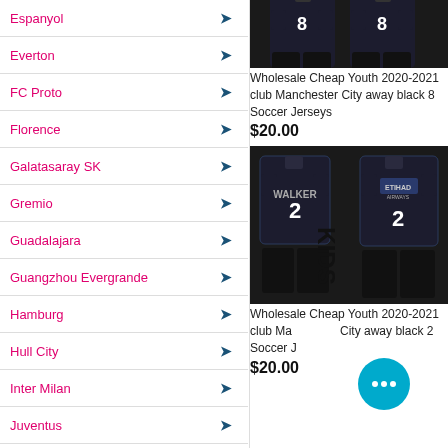Espanyol
Everton
FC Proto
Florence
Galatasaray SK
Gremio
Guadalajara
Guangzhou Evergrande
Hamburg
Hull City
Inter Milan
Juventus
Lazio
Leicester City
[Figure (photo): Manchester City away black #8 youth jersey and shorts kit (top portion cropped)]
Wholesale Cheap Youth 2020-2021 club Manchester City away black 8 Soccer Jerseys
$20.00
[Figure (photo): Manchester City away black #2 WALKER youth jersey and shorts kit with 'KIDS' text overlay]
Wholesale Cheap Youth 2020-2021 club Manchester City away black 2 Soccer Jerseys
$20.00